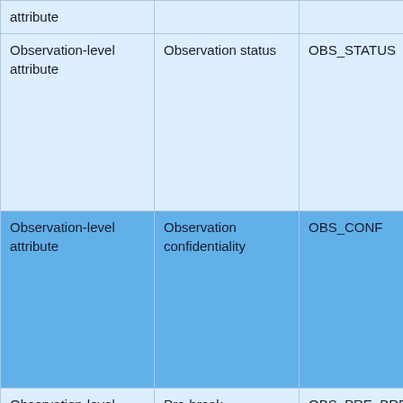| Type | Description | Code | Codelist |
| --- | --- | --- | --- |
| Observation-level attribute | Observation status | OBS_STATUS | ≡ CL_O... |
| Observation-level attribute | Observation confidentiality | OBS_CONF | ≡ CL_O... |
| Observation-level attribute | Pre-break observation value | OBS_PRE_BREAK |  |
| Observation-level attribute | Observation comment | OBS_COM |  |